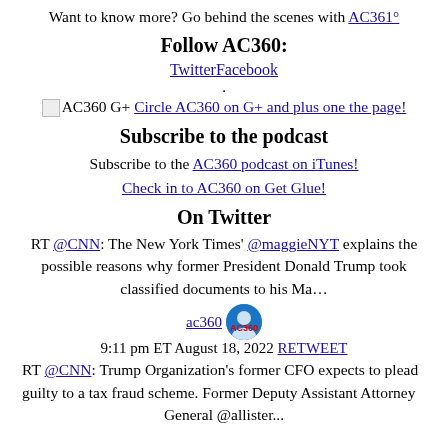Want to know more? Go behind the scenes with AC361°
Follow AC360:
TwitterFacebook
.
[img] AC360 G+ Circle AC360 on G+ and plus one the page!
Subscribe to the podcast
Subscribe to the AC360 podcast on iTunes! Check in to AC360 on Get Glue!
On Twitter
RT @CNN: The New York Times' @maggieNYT explains the possible reasons why former President Donald Trump took classified documents to his Ma…
ac360  9:11 pm ET August 18, 2022 RETWEET
RT @CNN: Trump Organization's former CFO expects to plead guilty to a tax fraud scheme. Former Deputy Assistant Attorney General @allister...